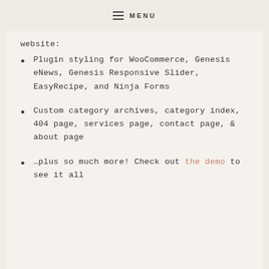MENU
website:
Plugin styling for WooCommerce, Genesis eNews, Genesis Responsive Slider, EasyRecipe, and Ninja Forms
Custom category archives, category index, 404 page, services page, contact page, & about page
…plus so much more! Check out the demo to see it all